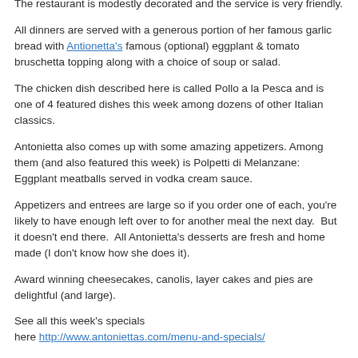Antonietta's Bistro in Runnemede.
The restaurant is modestly decorated and the service is very friendly.
All dinners are served with a generous portion of her famous garlic bread with Antionetta's famous (optional) eggplant & tomato bruschetta topping along with a choice of soup or salad.
The chicken dish described here is called Pollo a la Pesca and is one of 4 featured dishes this week among dozens of other Italian classics.
Antonietta also comes up with some amazing appetizers. Among them (and also featured this week) is Polpetti di Melanzane: Eggplant meatballs served in vodka cream sauce.
Appetizers and entrees are large so if you order one of each, you're likely to have enough left over to for another meal the next day.  But it doesn't end there.  All Antonietta's desserts are fresh and home made (I don't know how she does it).
Award winning cheesecakes, canolis, layer cakes and pies are delightful (and large).
See all this week's specials here http://www.antoniettas.com/menu-and-specials/
There's a link for coupons on the same page, so indulge!